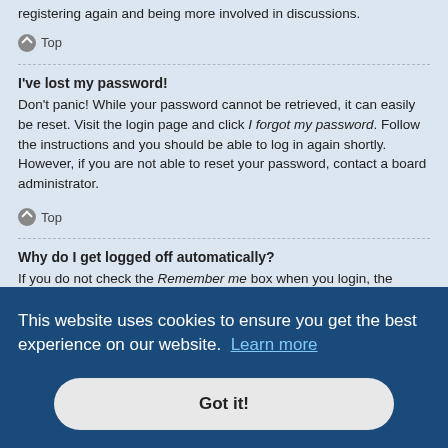registering again and being more involved in discussions.
Top
I've lost my password!
Don't panic! While your password cannot be retrieved, it can easily be reset. Visit the login page and click I forgot my password. Follow the instructions and you should be able to log in again shortly. However, if you are not able to reset your password, contact a board administrator.
Top
Why do I get logged off automatically?
If you do not check the Remember me box when you login, the board will only keep you logged in for a preset time. This prevents misuse of your account by anyone else. To stay logged in, check the Remember me box during login. This [partially visible] e.g. [partially visible]
authenticated and logged into the board. Cookies also provide functions such
This website uses cookies to ensure you get the best experience on our website. Learn more
Got it!